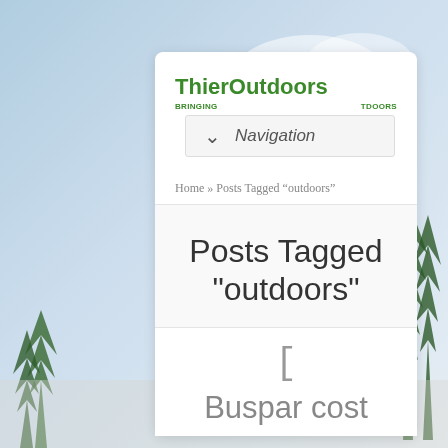[Figure (screenshot): Background sky and trees with white page card overlay showing ThierOutdoors website]
ThierOutdoors
BRINGING TDOORS
Navigation
Home » Posts Tagged "outdoors"
Posts Tagged "outdoors"
[
Buspar cost